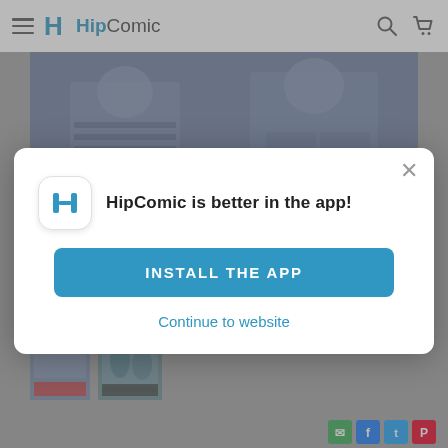HipComic
[Figure (screenshot): HipComic website background showing comic book cover art with two figures in hooded/striped outfits, muted blue-grey tones]
[Figure (screenshot): Two comic book thumbnails visible at bottom of page background]
HipComic is better in the app!
INSTALL THE APP
Continue to website